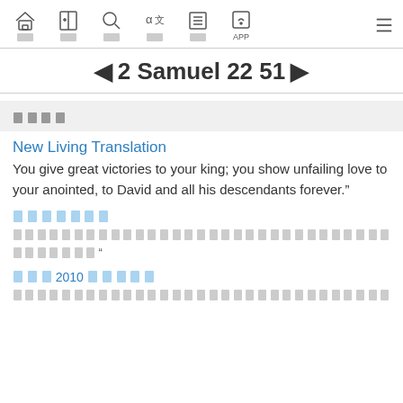Navigation bar with icons: home, bible, search, translate, list, APP, and menu
◀ 2 Samuel 22 51 ▶
[CJK translation selector]
New Living Translation
You give great victories to your king; you show unfailing love to your anointed, to David and all his descendants forever."
[CJK translation name]
[CJK verse text with quotation mark]
[CJK 2010 translation name]
[CJK verse text]